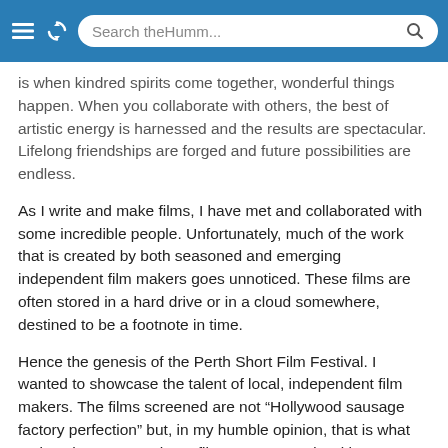Search theHumm...
is when kindred spirits come together, wonderful things happen. When you collaborate with others, the best of artistic energy is harnessed and the results are spectacular. Lifelong friendships are forged and future possibilities are endless.
As I write and make films, I have met and collaborated with some incredible people. Unfortunately, much of the work that is created by both seasoned and emerging independent film makers goes unnoticed. These films are often stored in a hard drive or in a cloud somewhere, destined to be a footnote in time.
Hence the genesis of the Perth Short Film Festival. I wanted to showcase the talent of local, independent film makers. The films screened are not “Hollywood sausage factory perfection” but, in my humble opinion, that is what makes them great. These films are not made with astronomical budgets. These films are made with care,